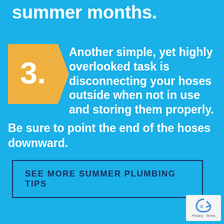summer months.
3. Another simple, yet highly overlooked task is disconnecting your hoses outside when not in use and storing them properly. Be sure to point the end of the hoses downward.
SEE MORE SUMMER PLUMBING TIPS
[Figure (logo): reCAPTCHA badge with Privacy and Terms links]